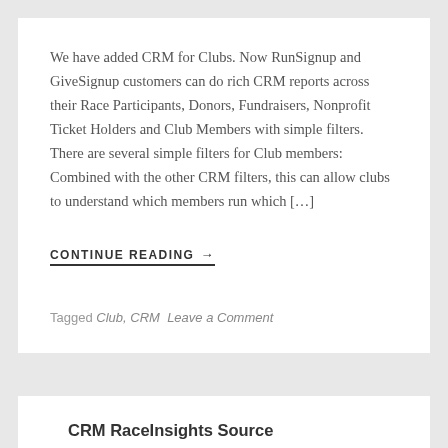We have added CRM for Clubs. Now RunSignup and GiveSignup customers can do rich CRM reports across their Race Participants, Donors, Fundraisers, Nonprofit Ticket Holders and Club Members with simple filters. There are several simple filters for Club members: Combined with the other CRM filters, this can allow clubs to understand which members run which […]
CONTINUE READING →
Tagged Club, CRM  Leave a Comment
CRM RaceInsights Source